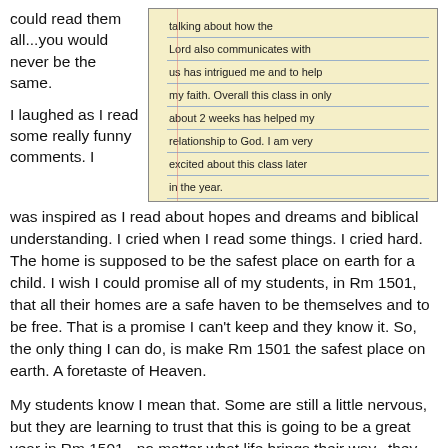could read them all...you would never be the same.
[Figure (photo): Handwritten notebook page with text: 'talking about how the Lord also communicates with us has intrigued me and to help my faith. Overall this class in only about 2 weeks has helped my relationship to God. I am very excited about this class later in the year.']
I laughed as I read some really funny comments.  I was inspired as I read about hopes and dreams and biblical understanding.  I cried when I read some things.  I cried hard.  The home is supposed to be the safest place on earth for a child.  I wish I could promise all of my students, in Rm 1501, that all their homes are a safe haven to be themselves and to be free. That is a promise I can't keep and they know it. So, the only thing I can do, is make Rm 1501 the safest place on earth.  A foretaste of Heaven.
My students know I mean that.  Some are still a little nervous, but they are learning to trust that this is going to be a great year in Rm 1501...no matter what life brings their way...they